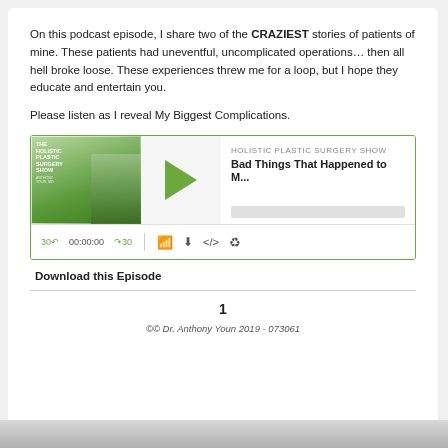On this podcast episode, I share two of the CRAZIEST stories of patients of mine. These patients had uneventful, uncomplicated operations… then all hell broke loose. These experiences threw me for a loop, but I hope they educate and entertain you.
Please listen as I reveal My Biggest Complications.
[Figure (screenshot): Embedded podcast player for 'Holistic Plastic Surgery Show' episode titled 'Bad Things That Happened to M...' with play button, progress bar, and media controls showing 00:00:00 timestamp]
Download this Episode
1
©© Dr. Anthony Youn 2019 - 073061